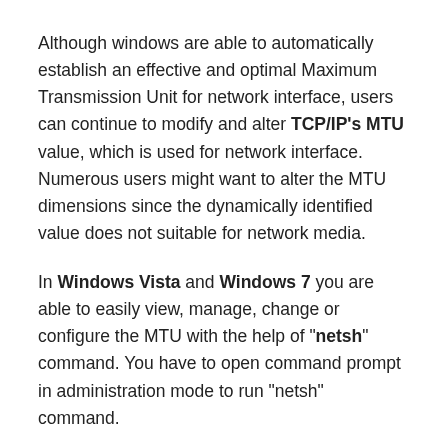Although windows are able to automatically establish an effective and optimal Maximum Transmission Unit for network interface, users can continue to modify and alter TCP/IP's MTU value, which is used for network interface. Numerous users might want to alter the MTU dimensions since the dynamically identified value does not suitable for network media.
In Windows Vista and Windows 7 you are able to easily view, manage, change or configure the MTU with the help of "netsh" command. You have to open command prompt in administration mode to run "netsh" command.
Remember that MTU is scheduled on for every single interface in computer. Use the following commands to show different interfaces.